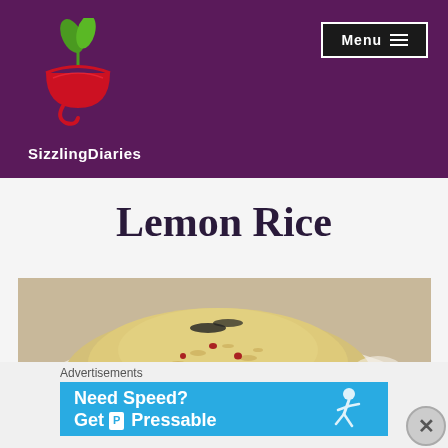[Figure (logo): SizzlingDiaries logo: a red bowl/cup with green plant leaves on top, resembling a mortar with sprouts]
Menu ≡
SizzlingDiaries
Lemon Rice
[Figure (photo): A mound of lemon rice served on a white plate with flower decorations, viewed from slightly above. The rice appears golden-yellow with whole spices.]
Advertisements
[Figure (screenshot): Advertisement banner: 'Need Speed? Get Pressable' on a blue background with a running figure graphic]